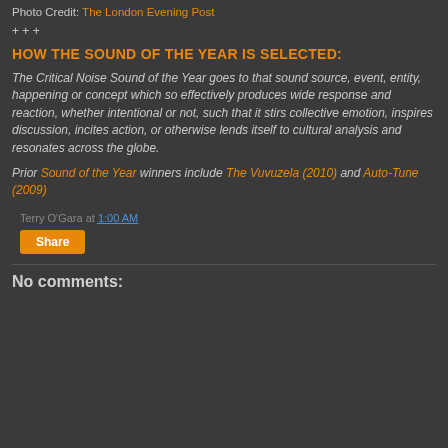Photo Credit: The London Evening Post
+ + +
HOW THE SOUND OF THE YEAR IS SELECTED:
The Critical Noise Sound of the Year goes to that sound source, event, entity, happening or concept which so effectively produces wide response and reaction, whether intentional or not, such that it stirs collective emotion, inspires discussion, incites action, or otherwise lends itself to cultural analysis and resonates across the globe.
Prior Sound of the Year winners include The Vuvuzela (2010) and Auto-Tune (2009)
Terry O'Gara at 1:00 AM
Share
No comments: